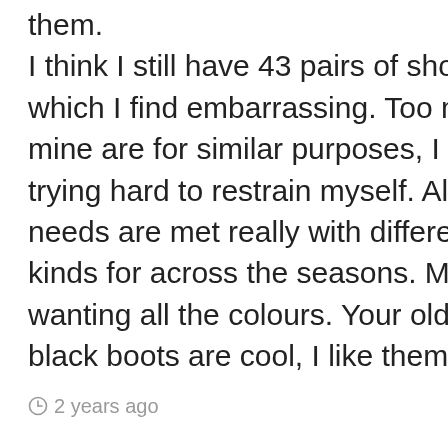them. I think I still have 43 pairs of shoes which I find embarrassing. Too many of mine are for similar purposes, I am trying hard to restrain myself. All my needs are met really with different kinds for across the seasons. My issue is wanting all the colours. Your old school black boots are cool, I like them 🙂
2 years ago